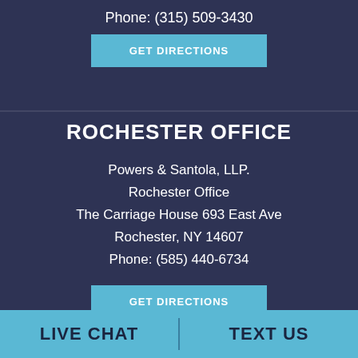Phone: (315) 509-3430
GET DIRECTIONS
ROCHESTER OFFICE
Powers & Santola, LLP.
Rochester Office
The Carriage House 693 East Ave
Rochester, NY 14607
Phone: (585) 440-6734
GET DIRECTIONS
OUR COMMUNITIES
LIVE CHAT
TEXT US